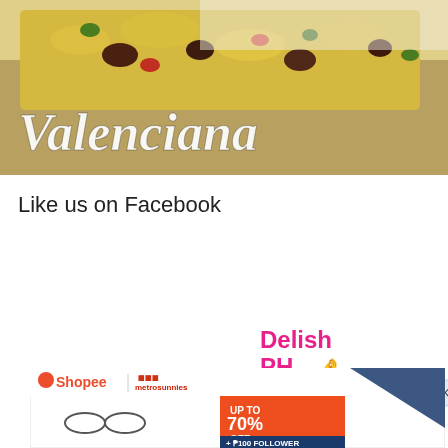[Figure (photo): Photo of Valenciana dish (yellow rice with meat and vegetables) on a white plate, with italic white text 'Valenciana' overlaid at the bottom left]
Like us on Facebook
[Figure (logo): Delish PH logo in pink/magenta with a chef hat icon, alongside a YouTube subscribe button showing 62K subscribers]
[Figure (infographic): Shopee advertisement banner featuring metrosunnies eyeglasses brand. Shows multiple pairs of glasses and orange promotional text: UP TO 70% OFF + ₱100 FOLLOWER VOUCHER]